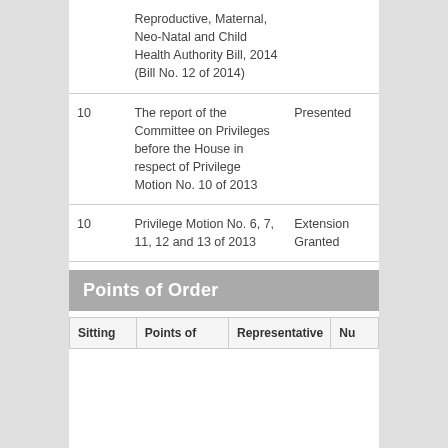| Sitting | Description | Status |
| --- | --- | --- |
|  | Reproductive, Maternal, Neo-Natal and Child Health Authority Bill, 2014 (Bill No. 12 of 2014) |  |
| 10 | The report of the Committee on Privileges before the House in respect of Privilege Motion No. 10 of 2013 | Presented |
| 10 | Privilege Motion No. 6, 7, 11, 12 and 13 of 2013 | Extension Granted |
Points of Order
| Sitting | Points of | Representative | Nu |
| --- | --- | --- | --- |